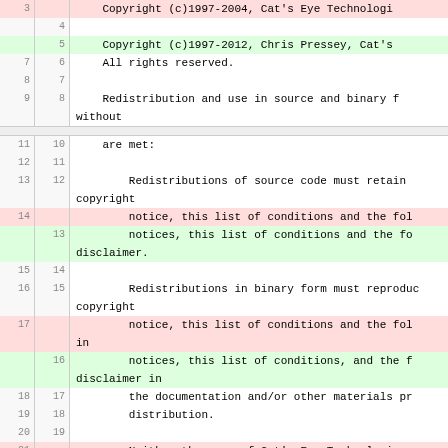Code diff view showing copyright notice and redistribution license text with line numbers (old and new), highlighted additions in green and removals in red.